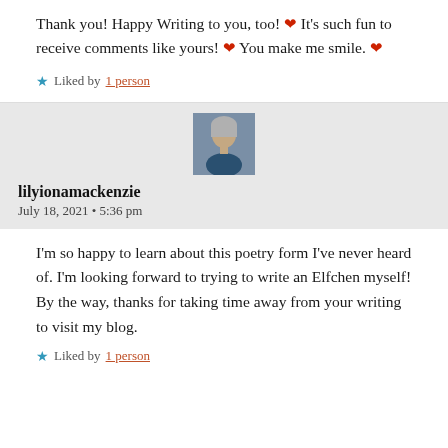Thank you! Happy Writing to you, too! ❤ It's such fun to receive comments like yours! ❤ You make me smile. ❤
Liked by 1 person
lilyionamackenzie
July 18, 2021 • 5:36 pm
I'm so happy to learn about this poetry form I've never heard of. I'm looking forward to trying to write an Elfchen myself! By the way, thanks for taking time away from your writing to visit my blog.
Liked by 1 person